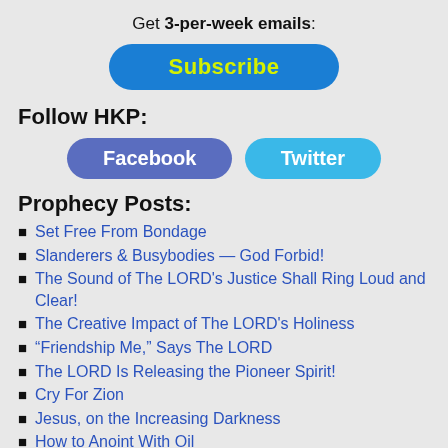Get 3-per-week emails:
[Figure (other): Subscribe button — blue pill-shaped button with yellow-green bold text 'Subscribe']
Follow HKP:
[Figure (other): Facebook and Twitter social media buttons — rounded pill buttons, Facebook in blue-purple, Twitter in light blue]
Prophecy Posts:
Set Free From Bondage
Slanderers & Busybodies — God Forbid!
The Sound of The LORD's Justice Shall Ring Loud and Clear!
The Creative Impact of The LORD's Holiness
“Friendship Me,” Says The LORD
The LORD Is Releasing the Pioneer Spirit!
Cry For Zion
Jesus, on the Increasing Darkness
How to Anoint With Oil
Have You Ever?
Vortex — Arise! Awake!